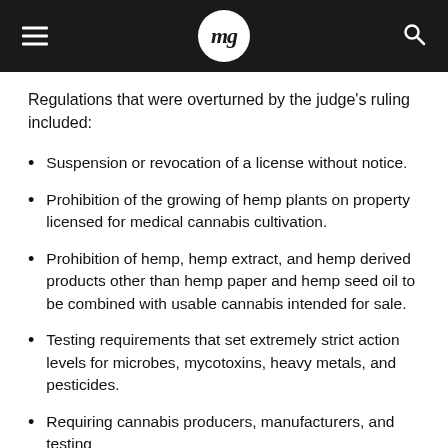mg
Regulations that were overturned by the judge’s ruling included:
Suspension or revocation of a license without notice.
Prohibition of the growing of hemp plants on property licensed for medical cannabis cultivation.
Prohibition of hemp, hemp extract, and hemp derived products other than hemp paper and hemp seed oil to be combined with usable cannabis intended for sale.
Testing requirements that set extremely strict action levels for microbes, mycotoxins, heavy metals, and pesticides.
Requiring cannabis producers, manufacturers, and testing